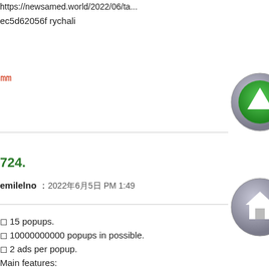https://newsamed.world/2022/06/ta... ec5d62056f rychali
00
[Figure (illustration): Gray circle button with green upward triangle/arrow icon]
724.
emilelno : 2022年6月5日 PM 1:49
[Figure (illustration): Gray circle button with house/home icon]
◻ 15 popups.
◻ 10000000000 popups in possible.
◻ 2 ads per popup.
Main features:
◻ See the creator herself. You can c...
[Figure (illustration): Gray circle button with red person/user icon]
[Figure (illustration): Gray circle button with purple store/shop icon]
absolute flyer pro
[Figure (illustration): Gray circle button with yellow star and green plus icon]
from the creators of absolute pop u...